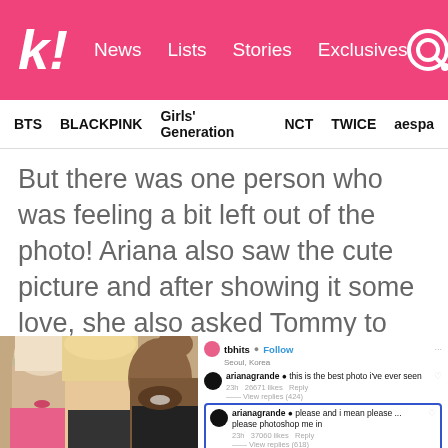k! News Lists Stories Exclusives
BTS BLACKPINK Girls' Generation NCT TWICE aespa
But there was one person who was feeling a bit left out of the photo! Ariana also saw the cute picture and after showing it some love, she also asked Tommy to photoshop her into the picture!
[Figure (screenshot): Instagram screenshot showing a selfie photo of BLACKPINK members with a man, alongside comments from arianagrande saying 'this is the best photo i've ever seen' and 'please and i mean please ... please photoshop me in', and a comment from princesspiamia saying 'this is amazing']